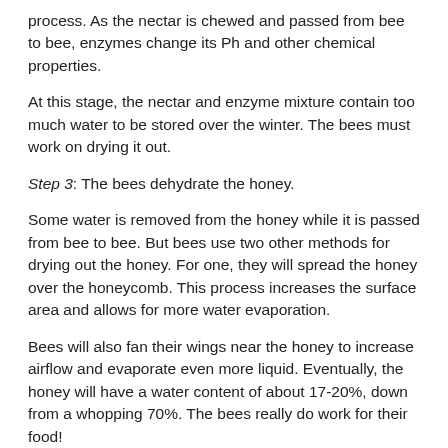process. As the nectar is chewed and passed from bee to bee, enzymes change its Ph and other chemical properties.
At this stage, the nectar and enzyme mixture contain too much water to be stored over the winter. The bees must work on drying it out.
Step 3: The bees dehydrate the honey.
Some water is removed from the honey while it is passed from bee to bee. But bees use two other methods for drying out the honey. For one, they will spread the honey over the honeycomb. This process increases the surface area and allows for more water evaporation.
Bees will also fan their wings near the honey to increase airflow and evaporate even more liquid. Eventually, the honey will have a water content of about 17-20%, down from a whopping 70%. The bees really do work for their food!